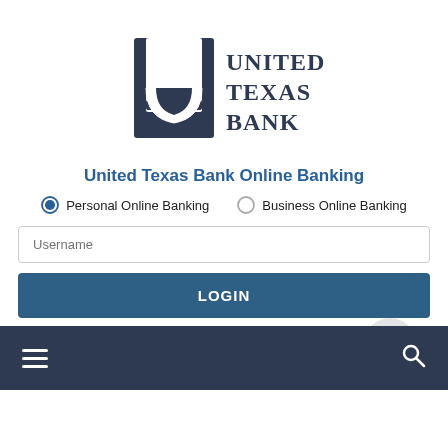[Figure (logo): United Texas Bank logo with stylized U icon and bold serif text UNITED TEXAS BANK]
United Texas Bank Online Banking
Personal Online Banking (selected radio button) | Business Online Banking (unselected radio button)
Username (input field)
LOGIN (button)
Enroll | Forgot Password
[Figure (screenshot): Navigation bar with hamburger menu icon on left and search icon on right, dark navy background]